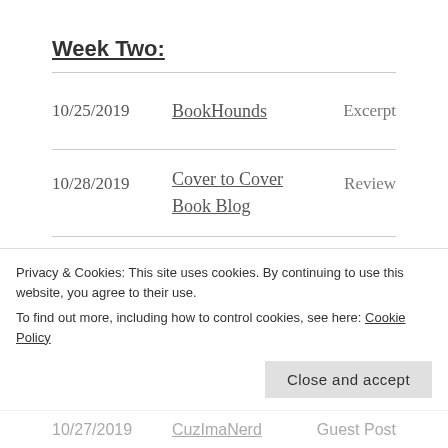Week Two:
| Date | Blog | Type |
| --- | --- | --- |
| 10/25/2019 | BookHounds | Excerpt |
| 10/28/2019 | Cover to Cover Book Blog | Review |
| 10/28/2019 | K.L Novitzke – Author | Excerpt |
| 10/27/2019 | CuzImaNerd | Guest Post |
Privacy & Cookies: This site uses cookies. By continuing to use this website, you agree to their use.
To find out more, including how to control cookies, see here: Cookie Policy